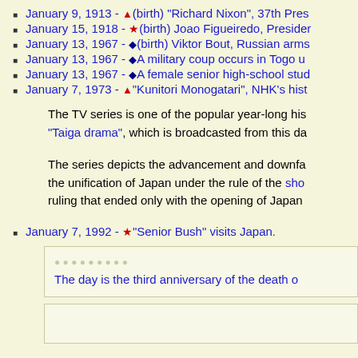January 9, 1913 - ▲(birth) "Richard Nixon", 37th Pres...
January 15, 1918 - ★(birth) Joao Figueiredo, Presider...
January 13, 1967 - ◆(birth) Viktor Bout, Russian arms...
January 13, 1967 - ◆A military coup occurs in Togo u...
January 13, 1967 - ◆A female senior high-school stud...
January 7, 1973 - ▲"Kunitori Monogatari", NHK's hist...
The TV series is one of the popular year-long his... "Taiga drama", which is broadcasted from this da...
The series depicts the advancement and downfa... the unification of Japan under the rule of the sho... ruling that ended only with the opening of Japan...
January 7, 1992 - ★"Senior Bush" visits Japan.
The day is the third anniversary of the death o...